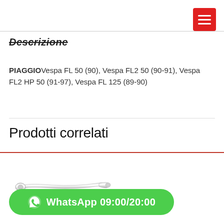≡ (hamburger menu button)
Descrizione
PIAGGIOVespa FL 50 (90), Vespa FL2 50 (90-91), Vespa FL2 HP 50 (91-97), Vespa FL 125 (89-90)
Prodotti correlati
[Figure (photo): A chrome/metal brake or clutch lever for a Vespa scooter, shown horizontally against white background]
WhatsApp 09:00/20:00